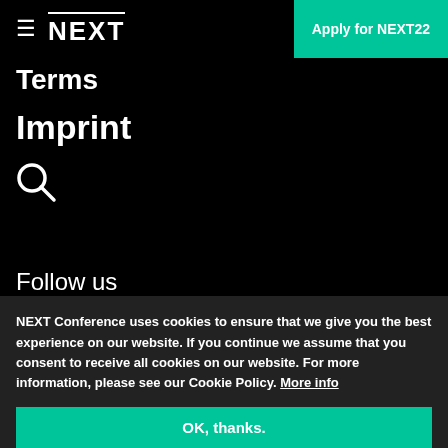≡ NEXT | Apply for NEXT22
Terms
Imprint
[Figure (other): Search icon (magnifying glass)]
Follow us
[Figure (other): Social media icons: Facebook, Twitter, YouTube, Xing, LinkedIn, Instagram]
NEXT Conference uses cookies to ensure that we give you the best experience on our website. If you continue we assume that you consent to receive all cookies on our website. For more information, please see our Cookie Policy. More info
OK, thanks.